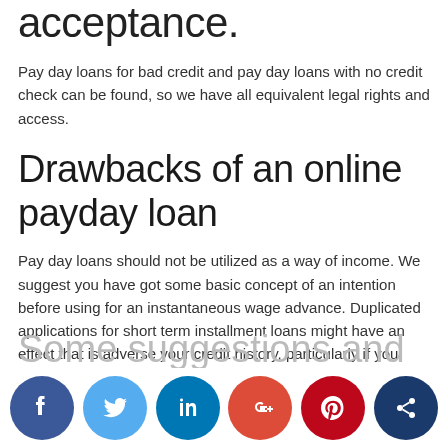acceptance.
Pay day loans for bad credit and pay day loans with no credit check can be found, so we have all equivalent legal rights and access.
Drawbacks of an online payday loan
Pay day loans should not be utilized as a way of income. We suggest you have got some basic concept of an intention before using for an instantaneous wage advance. Duplicated applications for short term installment loans might have an effect that is adverse your credit history, particularly if you neglect to make repayments. To learn more, and also to avoid falling into financial obligation, please go to MoneyAdviceService.
Some suggestions and information if you re
[Figure (infographic): Social sharing buttons row: Facebook (dark blue), Twitter (light blue), LinkedIn (blue), Google+ (red), Pinterest (dark red), share/network (dark navy blue)]